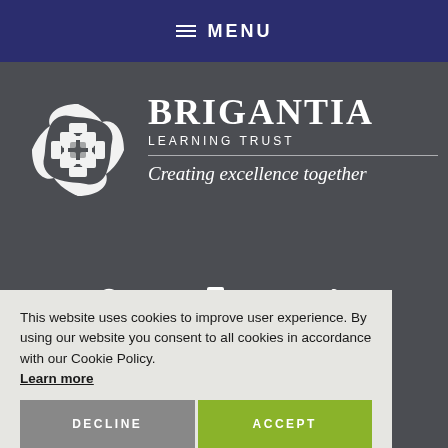MENU
[Figure (logo): Brigantia Learning Trust logo: Celtic knot emblem with organization name 'BRIGANTIA LEARNING TRUST' and tagline 'Creating excellence together']
This website uses cookies to improve user experience. By using our website you consent to all cookies in accordance with our Cookie Policy. Learn more
DECLINE
ACCEPT